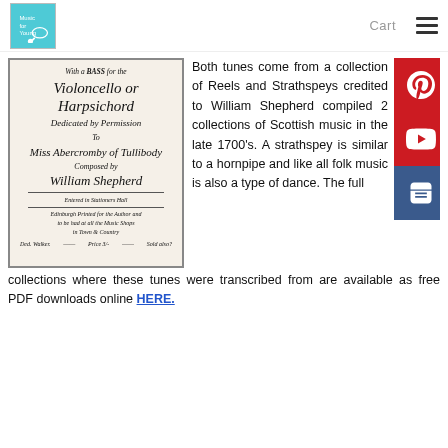Cart
[Figure (illustration): Antique sheet music title page for 'Violoncello or Harpsichord' with ornate calligraphic script, dedicated by permission to Miss Abercromby of Tullibody, Composed by William Shepherd, Entered in Stationers Hall, Edinburgh Printed for the Author.]
Both tunes come from a collection of Reels and Strathspeys credited to William Shepherd compiled 2 collections of Scottish music in the late 1700's. A strathspey is similar to a hornpipe and like all folk music is also a type of dance. The full collections where these tunes were transcribed from are available as free PDF downloads online HERE.